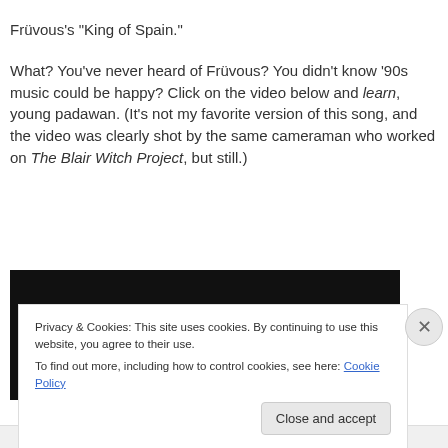Früvous's “King of Spain.”

What? You’ve never heard of Früvous? You didn’t know ’90s music could be happy? Click on the video below and learn, young padawan. (It’s not my favorite version of this song, and the video was clearly shot by the same cameraman who worked on The Blair Witch Project, but still.)
[Figure (other): Embedded video player — black rectangle placeholder]
Privacy & Cookies: This site uses cookies. By continuing to use this website, you agree to their use.
To find out more, including how to control cookies, see here: Cookie Policy

[Close and accept button]